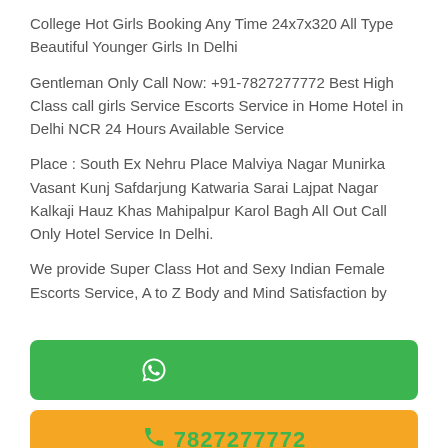College Hot Girls Booking Any Time 24x7x320 All Type Beautiful Younger Girls In Delhi
Gentleman Only Call Now: +91-7827277772 Best High Class call girls Service Escorts Service in Home Hotel in Delhi NCR 24 Hours Available Service
Place : South Ex Nehru Place Malviya Nagar Munirka Vasant Kunj Safdarjung Katwaria Sarai Lajpat Nagar Kalkaji Hauz Khas Mahipalpur Karol Bagh All Out Call Only Hotel Service In Delhi.
We provide Super Class Hot and Sexy Indian Female Escorts Service, A to Z Body and Mind Satisfaction by
[Figure (other): Green WhatsApp button with phone number 7827277772]
[Figure (other): Yellow call button with phone number 7827277772]